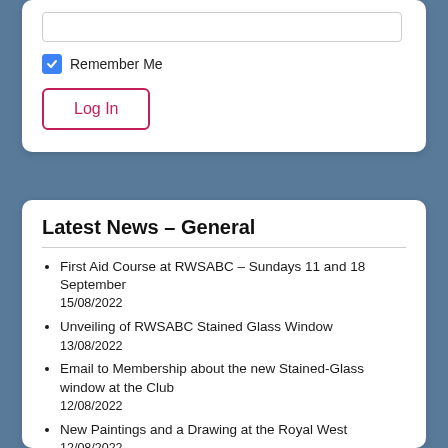[Figure (screenshot): A text input field (password field) at the top of a login card]
Remember Me (checkbox checked)
Log In
Latest News – General
First Aid Course at RWSABC – Sundays 11 and 18 September
15/08/2022
Unveiling of RWSABC Stained Glass Window
13/08/2022
Email to Membership about the new Stained-Glass window at the Club
12/08/2022
New Paintings and a Drawing at the Royal West
12/08/2022
Boules on the Beach – Tuesday 9 August at 2:30pm